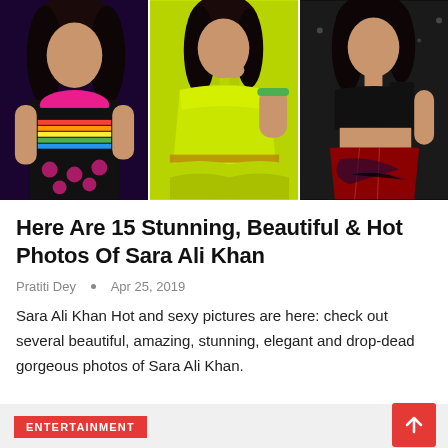[Figure (photo): Three-panel photo collage of Sara Ali Khan: left panel shows her in colorful embroidered top, center panel in a lime green saree, right panel in black crop top with metallic patterned pants]
Here Are 15 Stunning, Beautiful & Hot Photos Of Sara Ali Khan
Pratiti Dey  •  Apr 25, 2019
Sara Ali Khan Hot and sexy pictures are here: check out several beautiful, amazing, stunning, elegant and drop-dead gorgeous photos of Sara Ali Khan.
ENTERTAINMENT